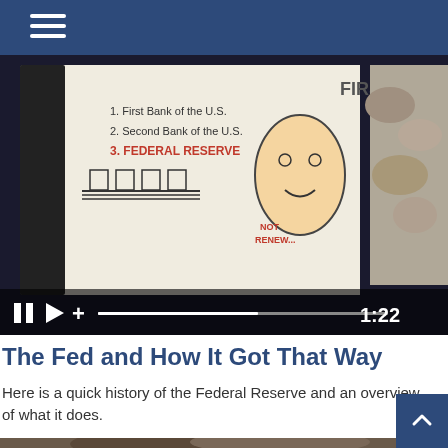Navigation header bar with hamburger menu
[Figure (screenshot): Video player showing a hand-drawn sketch of U.S. banking history (First Bank, Second Bank, Federal Reserve) with video controls showing pause, play, plus buttons, a progress bar, and timestamp 1:22]
The Fed and How It Got That Way
Here is a quick history of the Federal Reserve and an overview of what it does.
[Figure (photo): Partial photo of a person with wavy hair, partially visible at the bottom of the page. Blue scroll-to-top button with chevron icon in lower right corner.]